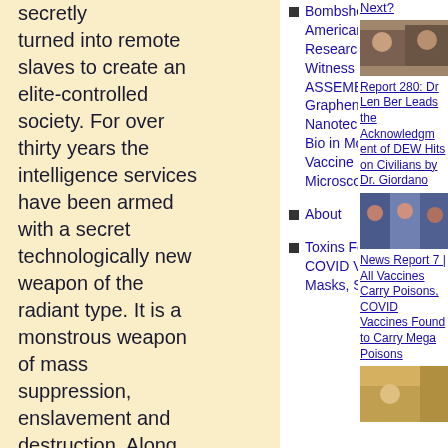secretly turned into remote slaves to create an elite-controlled society. For over thirty years the intelligence services have been armed with a secret technologically new weapon of the radiant type. It is a monstrous weapon of mass suppression, enslavement and destruction. Along with publicly known
Bombshell News: American Medical Researchers Witness SELF-ASSEMBLING Graphene Oxide Nanotech or AI Syn Bio in Moderna Vaccine Under Microscope
About
Toxins Found in COVID Vaccines, Masks, Swabs
Next?
[Figure (photo): Thumbnail image of two people]
Report 280: Dr Len Ber Leads the Acknowledgment of DEW Hits on Civilians by Dr. Giordano
[Figure (photo): Thumbnail image of multiple people]
News Report 7 | All Vaccines Carry Poisons, COVID Vaccines Found to Carry Mega Poisons
[Figure (photo): Thumbnail image at bottom right]